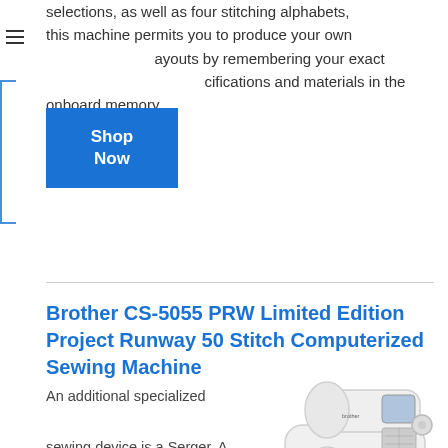selections, as well as four stitching alphabets, this machine permits you to produce your own layouts by remembering your exact specifications and materials in the onboard memory.
[Figure (other): Blue 'Shop Now' button overlay on text]
Brother CS-5055 PRW Limited Edition Project Runway 50 Stitch Computerized Sewing Machine
An additional specialized sewing device is a Serger. A serger is distinctively different from a regular stitching maker
[Figure (photo): Photo of a white computerized sewing machine (Brother CS-5055 PRW) on white background]